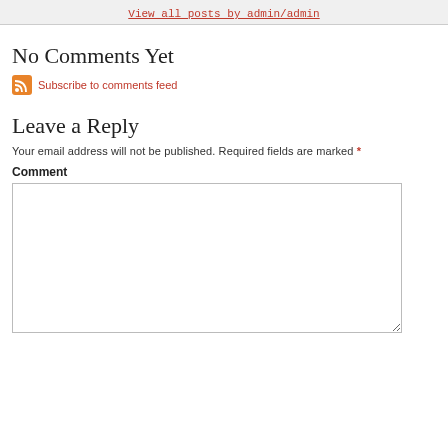View all posts by admin/admin
No Comments Yet
Subscribe to comments feed
Leave a Reply
Your email address will not be published. Required fields are marked *
Comment